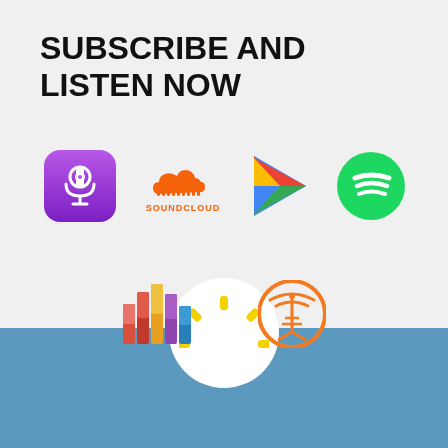SUBSCRIBE AND LISTEN NOW
[Figure (logo): Apple Podcasts logo - purple rounded square with white podcast icon]
[Figure (logo): SoundCloud logo - orange sound wave cloud with SOUNDCLOUD text]
[Figure (logo): Google Play logo - colorful triangular play button]
[Figure (logo): Spotify logo - green circle with white sound waves]
[Figure (logo): Podcast Addict or similar - colorful bar chart style logo]
[Figure (logo): Overcast or broadcast app logo - orange circle with radio tower signal]
[Figure (logo): Sun/podcast brand logo with yellow rays above white circle on blue background]